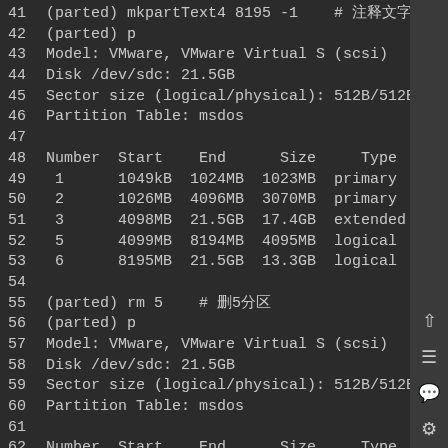41  (parted) mkpartText4 8195 -1    # 注释文字
42  (parted) p
43  Model: VMware, VMware Virtual S (scsi)
44  Disk /dev/sdc: 21.5GB
45  Sector size (logical/physical): 512B/512B
46  Partition Table: msdos
47  
48  Number  Start    End      Size     Type      File system
49   1      1049kB  1024MB  1023MB  primary
50   2      1026MB  4096MB  3070MB  primary
51   3      4098MB  21.5GB  17.4GB  extended
52   5      4099MB  8194MB  4095MB  logical
53   6      8195MB  21.5GB  13.3GB  logical
54  
55  (parted) rm 5    # 删5分区
56  (parted) p
57  Model: VMware, VMware Virtual S (scsi)
58  Disk /dev/sdc: 21.5GB
59  Sector size (logical/physical): 512B/512B
60  Partition Table: msdos
61  
62  Number  Start    End      Size     Type      File system
63   1      1049kB  1024MB  1023MB